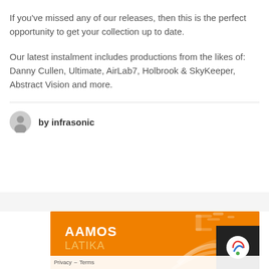If you've missed any of our releases, then this is the perfect opportunity to get your collection up to date.
Our latest instalment includes productions from the likes of: Danny Cullen, Ultimate, AirLab7, Holbrook & SkyKeeper, Abstract Vision and more.
by infrasonic
[Figure (photo): Orange album artwork with white bold text reading 'AAMOS' and orange subtitle 'LATIKA', with decorative swirl graphic elements on orange background.]